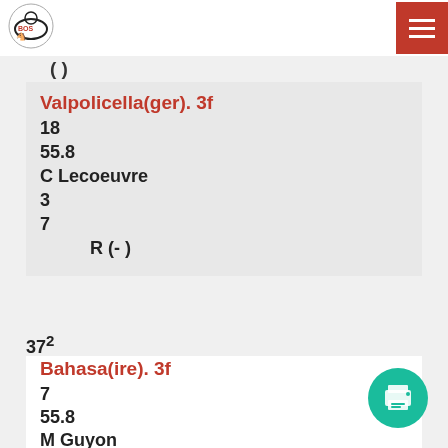Horse racing website header with logo and hamburger menu
( )
Valpolicella(ger). 3f
18
55.8
C Lecoeuvre
3
7
R (- )
37²
Bahasa(ire). 3f
7
55.8
M Guyon
7
R (- )